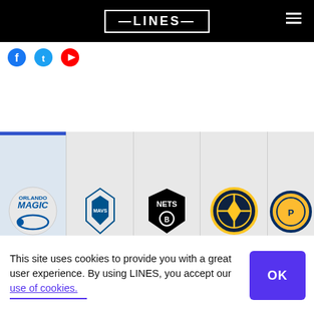LINES
[Figure (screenshot): Social media icons (Facebook, Twitter, YouTube) partially visible below header]
[Figure (screenshot): NBA team logo carousel showing ORL (Orlando Magic), DAL (Dallas Mavericks), BKN (Brooklyn Nets), DEN (Denver Nuggets), IND (Indiana Pacers) team logos with abbreviations below]
[Figure (screenshot): Second row of NBA team logos partially visible in dark background strip]
This site uses cookies to provide you with a great user experience. By using LINES, you accept our use of cookies.